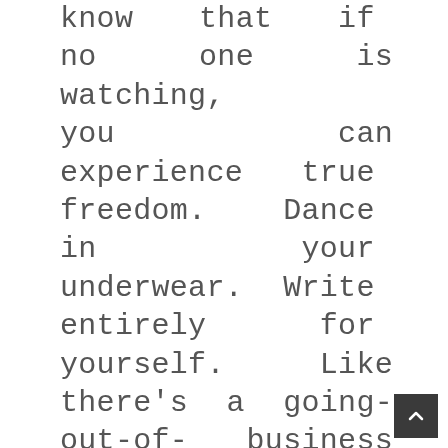know that if no one is watching, you can experience true freedom. Dance in your underwear. Write entirely for yourself. Like there's a going-out-of-business sale. Find yourself—not in some coming-of-age hippie way involving pasta and ashrams— but in a way that helps you draw your own line in the sand for what matters and what doesn't. Do what you want to do, just because you